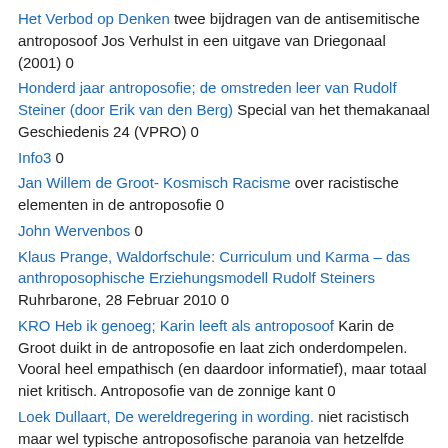Het Verbod op Denken twee bijdragen van de antisemitische antroposoof Jos Verhulst in een uitgave van Driegonaal (2001) 0
Honderd jaar antroposofie; de omstreden leer van Rudolf Steiner (door Erik van den Berg) Special van het themakanaal Geschiedenis 24 (VPRO) 0
Info3 0
Jan Willem de Groot- Kosmisch Racisme over racistische elementen in de antroposofie 0
John Wervenbos 0
Klaus Prange, Waldorfschule: Curriculum und Karma – das anthroposophische Erziehungsmodell Rudolf Steiners Ruhrbarone, 28 Februar 2010 0
KRO Heb ik genoeg; Karin leeft als antroposoof Karin de Groot duikt in de antroposofie en laat zich onderdompelen. Vooral heel empathisch (en daardoor informatief), maar totaal niet kritisch. Antroposofie van de zonnige kant 0
Loek Dullaart, De wereldregering in wording. niet racistisch maar wel typische antroposofische paranoia van hetzelfde soort als de Brug. Alle 9/11 claims uit dit stuk zijn overigens eerder overtuigend weerlegd (zie